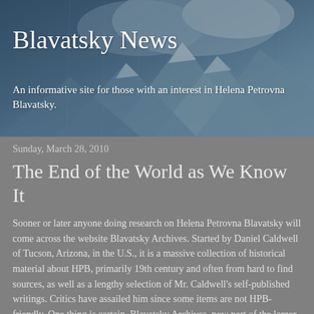[Figure (photo): Header image with mountainous/icy landscape in blue-grey tones serving as background for Blavatsky News website header]
Blavatsky News
An informative site for those with an interest in Helena Petrovna Blavatsky.
Sunday, March 28, 2010
The End of the World as We Know It
Sooner or later anyone doing research on Helena Petrovna Blavatsky will come across the website Blavatsky Archives. Started by Daniel Caldwell of Tucson, Arizona, in the U.S., it is a massive collection of historical material about HPB, primarily 19th century and often from hard to find sources, as well as a lengthy selection of Mr. Caldwell's self-published writings. Critics have assailed him since some items are not HPB-friendly. One thing is certain, Blavatsky Archives, now part of the larger Blavatsky Study Center, has changed the